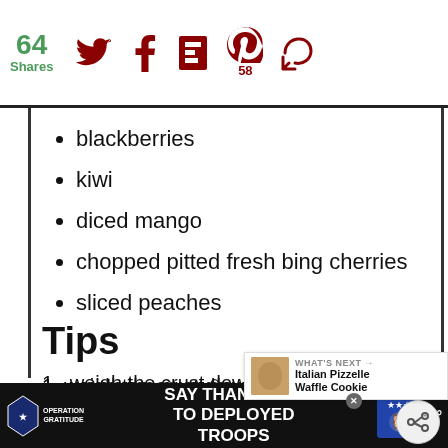64 Shares | Twitter | Facebook | Flipboard | Pinterest (58) | Other
blackberries
kiwi
diced mango
chopped pitted fresh bing cherries
sliced peaches
Tips
1. weigh the crust down with dried beans keep for puffing up
2. do not overwork the dough
SAY THANK YOU TO DEPLOYED TROOPS — Operation Gratitude